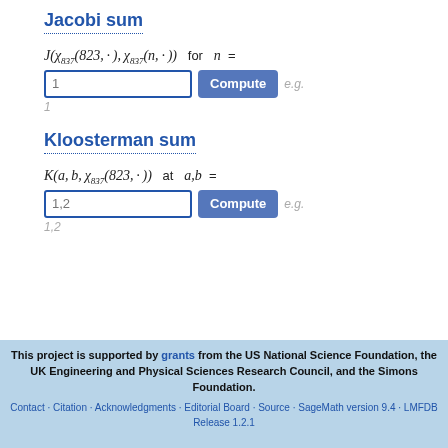Jacobi sum
Input field with placeholder 1, Compute button, e.g.
1
Kloosterman sum
Input field with placeholder 1,2, Compute button, e.g.
1,2
This project is supported by grants from the US National Science Foundation, the UK Engineering and Physical Sciences Research Council, and the Simons Foundation. Contact · Citation · Acknowledgments · Editorial Board · Source · SageMath version 9.4 · LMFDB Release 1.2.1